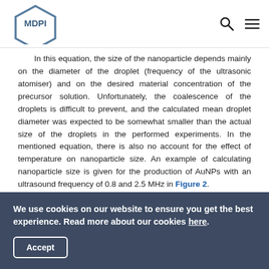MDPI
In this equation, the size of the nanoparticle depends mainly on the diameter of the droplet (frequency of the ultrasonic atomiser) and on the desired material concentration of the precursor solution. Unfortunately, the coalescence of the droplets is difficult to prevent, and the calculated mean droplet diameter was expected to be somewhat smaller than the actual size of the droplets in the performed experiments. In the mentioned equation, there is also no account for the effect of temperature on nanoparticle size. An example of calculating nanoparticle size is given for the production of AuNPs with an ultrasound frequency of 0.8 and 2.5 MHz in Figure 2.
We use cookies on our website to ensure you get the best experience. Read more about our cookies here.
Accept